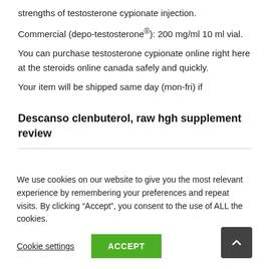strengths of testosterone cypionate injection.
Commercial (depo-testosterone®): 200 mg/ml 10 ml vial.
You can purchase testosterone cypionate online right here at the steroids online canada safely and quickly.
Your item will be shipped same day (mon-fri) if
Descanso clenbuterol, raw hgh supplement review
We use cookies on our website to give you the most relevant experience by remembering your preferences and repeat visits. By clicking “Accept”, you consent to the use of ALL the cookies.
Cookie settings
ACCEPT